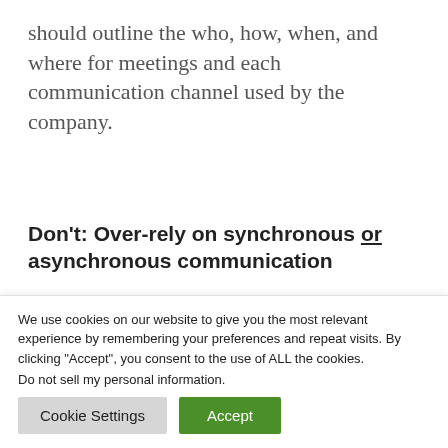should outline the who, how, when, and where for meetings and each communication channel used by the company.
Don't: Over-rely on synchronous or asynchronous communication
Too much of a good thing can be bad. When
We use cookies on our website to give you the most relevant experience by remembering your preferences and repeat visits. By clicking “Accept”, you consent to the use of ALL the cookies.
Do not sell my personal information.